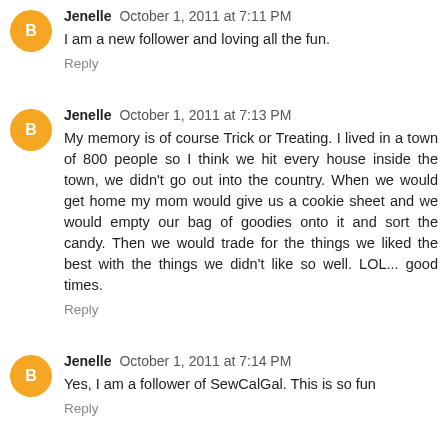Jenelle October 1, 2011 at 7:11 PM
I am a new follower and loving all the fun.
Reply
Jenelle October 1, 2011 at 7:13 PM
My memory is of course Trick or Treating. I lived in a town of 800 people so I think we hit every house inside the town, we didn't go out into the country. When we would get home my mom would give us a cookie sheet and we would empty our bag of goodies onto it and sort the candy. Then we would trade for the things we liked the best with the things we didn't like so well. LOL... good times.
Reply
Jenelle October 1, 2011 at 7:14 PM
Yes, I am a follower of SewCalGal. This is so fun
Reply